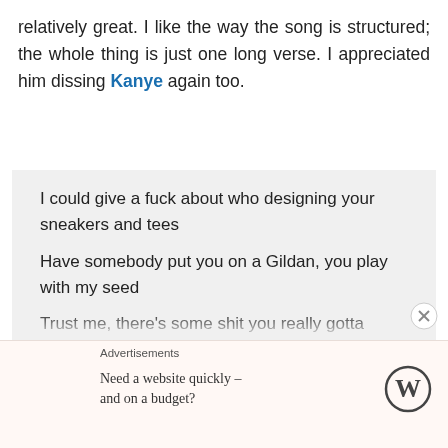relatively great. I like the way the song is structured; the whole thing is just one long verse. I appreciated him dissing Kanye again too.
I could give a fuck about who designing your sneakers and tees
Have somebody put you on a Gildan, you play with my seed
Trust me, there's some shit you really gotta come see to believe
That's why your people not believers, they all leavin' ya
That's why you buyin' into the hype that the press
Advertisements
Need a website quickly – and on a budget?